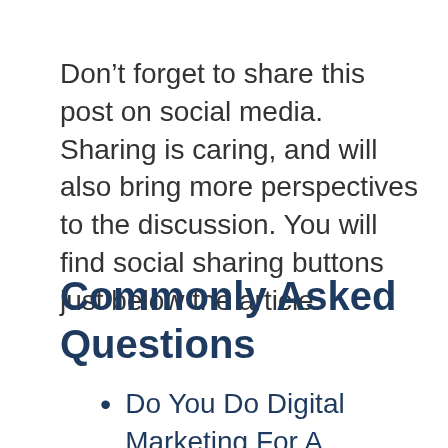Don’t forget to share this post on social media. Sharing is caring, and will also bring more perspectives to the discussion. You will find social sharing buttons just below the article.
Commonly Asked Questions
Do You Do Digital Marketing For A Business In Helsinki?